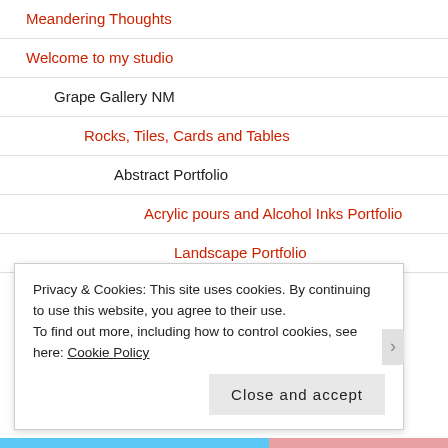Meandering Thoughts
Welcome to my studio
Grape Gallery NM
Rocks, Tiles, Cards and Tables
Abstract Portfolio
Acrylic pours and Alcohol Inks Portfolio
Landscape Portfolio
Privacy & Cookies: This site uses cookies. By continuing to use this website, you agree to their use.
To find out more, including how to control cookies, see here: Cookie Policy